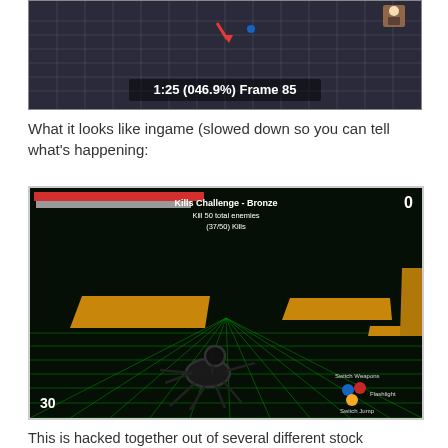[Figure (screenshot): Top portion of an animation editor or game engine viewport showing a grid/floor with timeline label '1:25 (046.9%) Frame 85' overlaid in white bold text at the bottom center of the screenshot.]
What it looks like ingame (slowed down so you can tell what's happening:
[Figure (screenshot): In-game screenshot of a dark 3D environment with a green grid floor, golden/brown platform shapes, a skeletal creature figure, HUD elements showing health bars at top-left, 'Kills Challenge - Bronze' and 'Kill 50 total enemies (37/50) Kills' text in top center, score '0' top-right, '30' in lower left corner, and colored dot icons in lower right corner.]
This is hacked together out of several different stock animations that may or may not have been meant for anything remotely related to what I'm using them for, so it's not surprising that issues would crop up.  Still, as a non animator is there anything I can do about this?